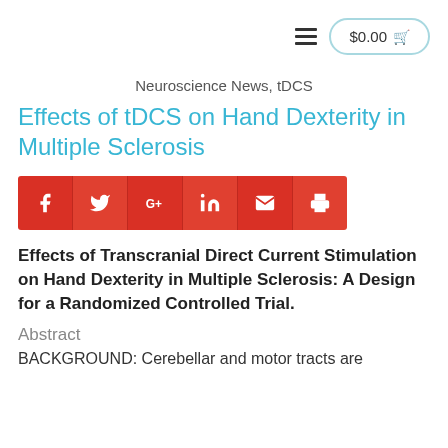$0.00
Neuroscience News, tDCS
Effects of tDCS on Hand Dexterity in Multiple Sclerosis
[Figure (infographic): Social share bar with buttons for Facebook, Twitter, Google+, LinkedIn, Email, and Print on red background]
Effects of Transcranial Direct Current Stimulation on Hand Dexterity in Multiple Sclerosis: A Design for a Randomized Controlled Trial.
Abstract
BACKGROUND: Cerebellar and motor tracts are